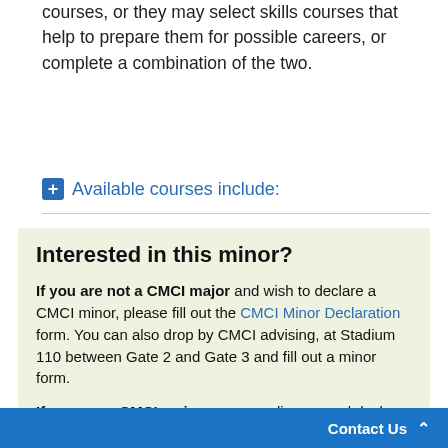courses, or they may select skills courses that help to prepare them for possible careers, or complete a combination of the two.
Available courses include:
Interested in this minor?

If you are not a CMCI major and wish to declare a CMCI minor, please fill out the CMCI Minor Declaration form. You can also drop by CMCI advising, at Stadium 110 between Gate 2 and Gate 3 and fill out a minor form.

If you are a CMCI major, you may discuss and declare the minor with your CMCI advisor. You can also declare by filling out the CMCI Minor Declaration form or by filling out a minor form
Contact Us